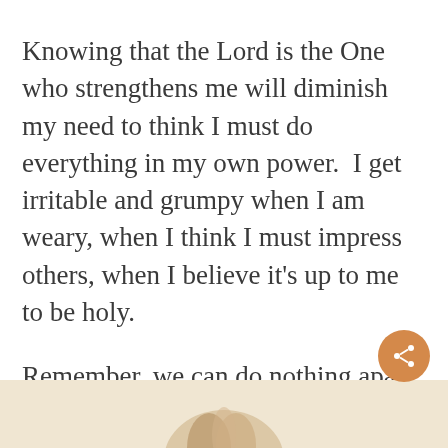Knowing that the Lord is the One who strengthens me will diminish my need to think I must do everything in my own power.  I get irritable and grumpy when I am weary, when I think I must impress others, when I believe it's up to me to be holy.
Remember, we can do nothing apart from Christ.  We will be barren, not producing any fruit, apart from our Life Source.  We must abide, or remain, in Christ.  We must completely depend upon Him for our every need.  That's where we find joy.  And in that joy of the Lord is where we find strength.
[Figure (illustration): Partial view of a decorative illustration on a warm beige background, visible at the bottom of the page — appears to show hands or a religious/spiritual motif.]